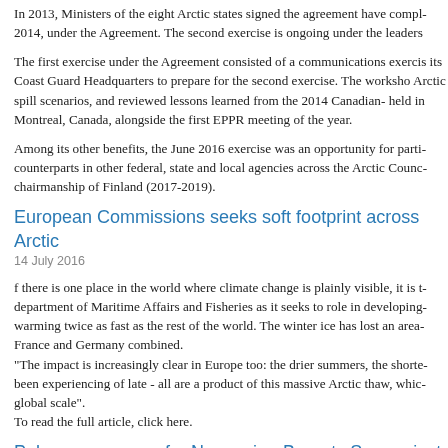In 2013, Ministers of the eight Arctic states signed the agreement have compl... 2014, under the Agreement. The second exercise is ongoing under the leaders...
The first exercise under the Agreement consisted of a communications exercis... its Coast Guard Headquarters to prepare for the second exercise. The worksho... Arctic spill scenarios, and reviewed lessons learned from the 2014 Canadian-... held in Montreal, Canada, alongside the first EPPR meeting of the year.
Among its other benefits, the June 2016 exercise was an opportunity for parti... counterparts in other federal, state and local agencies across the Arctic Counc... chairmanship of Finland (2017-2019).
European Commissions seeks soft footprint across Arctic
14 July 2016
f there is one place in the world where climate change is plainly visible, it is t... department of Maritime Affairs and Fisheries as it seeks to role in developing... warming twice as fast as the rest of the world. The winter ice has lost an area... France and Germany combined.
"The impact is increasingly clear in Europe too: the drier summers, the shorte... been experiencing of late - all are a product of this massive Arctic thaw, whic... global scale".
To read the full article, click here.
Polarcus prepares for Norwegian-Barents Sea project
14 July 2016
Seismic company Polarcus has received a Letter of Intent for an XArray(TM...